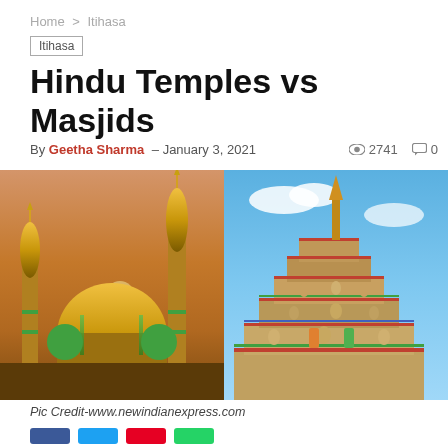Home > Itihasa
Itihasa
Hindu Temples vs Masjids
By Geetha Sharma - January 3, 2021   2741   0
[Figure (photo): Two side-by-side photos: left shows a mosque with golden domes and minarets against an orange/sunset sky; right shows a colorful ornate Hindu temple gopuram with sculptures against a blue sky.]
Pic Credit-www.newindianexpress.com